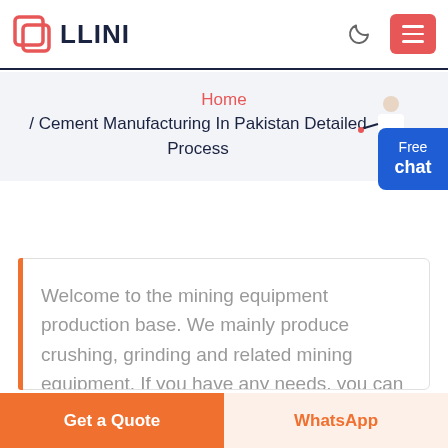LLINI
Home / Cement Manufacturing In Pakistan Detailed Process
Welcome to the mining equipment production base. We mainly produce crushing, grinding and related mining equipment. If you have any needs, you can
Get a Quote
WhatsApp